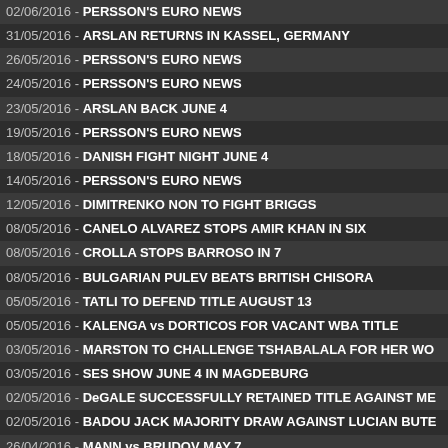02/06/2016 - PERSSON'S EURO NEWS
31/05/2016 - ARSLAN RETURNS IN KASSEL, GERMANY
26/05/2016 - PERSSON'S EURO NEWS
24/05/2016 - PERSSON'S EURO NEWS
23/05/2016 - ARSLAN BACK JUNE 4
19/05/2016 - PERSSON'S EURO NEWS
18/05/2016 - DANISH FIGHT NIGHT JUNE 4
14/05/2016 - PERSSON'S EURO NEWS
12/05/2016 - DIMITRENKO NON TO FIGHT BRIGGS
08/05/2016 - CANELO ALVAREZ STOPS AMIR KHAN IN SIX
08/05/2016 - CROLLA STOPS BARROSO IN 7
08/05/2016 - BULGARIAN PULEV BEATS BRITISH CHISORA
05/05/2016 - TATLI TO DEFEND TITLE AUGUST 13
05/05/2016 - KALENGA vs DORTICOS FOR VACANT WBA TITLE
03/05/2016 - MARSTON TO CHALLENGE TSHABALALA FOR HER WO
03/05/2016 - SES SHOW JUNE 4 IN MAGDEBURG
02/05/2016 - DeGALE SUCCESSFULLY RETAINED TITLE AGAINST ME
02/05/2016 - BADOU JACK MAJORITY DRAW AGAINST LUCIAN BUTE
26/04/2016 - MANN vs BRUDOV MAY 7
26/04/2016 - FORNLING STOPS TCHOULA
25/04/2016 - ACCRA, GHANA, LEGENDARY NIGHT BOXING POSTPON
24/04/2016 - FEIGENBUTZ BACK IN ACTION
23/04/2016 - GRANAT SPARRING WITH POVETKIN
21/04/2016 - SWEDISH OFFICIALS FOR SKOGLUND vs LIEBENBERG
20/04/2016 - AMAR vs DEMCHENKO FOR EBU LIGHT-HEAVYWEIGHT
19/04/2016 - ASIKAINEN IN A ONE FIGHT COMEBACK
17/04/2016 - BIRA INAUGURAL EVENT WITH KNOCKOUTS